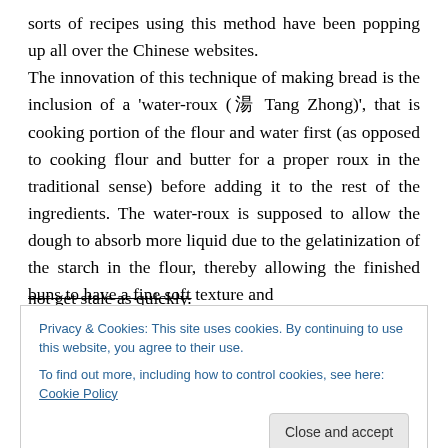sorts of recipes using this method have been popping up all over the Chinese websites. The innovation of this technique of making bread is the inclusion of a 'water-roux (湯 Tang Zhong)', that is cooking portion of the flour and water first (as opposed to cooking flour and butter for a proper roux in the traditional sense) before adding it to the rest of the ingredients. The water-roux is supposed to allow the dough to absorb more liquid due to the gelatinization of the starch in the flour, thereby allowing the finished buns to have a fine soft texture and not get stale as quickly.
Privacy & Cookies: This site uses cookies. By continuing to use this website, you agree to their use.
To find out more, including how to control cookies, see here: Cookie Policy
The following is the basic recipe using the 65°C water-